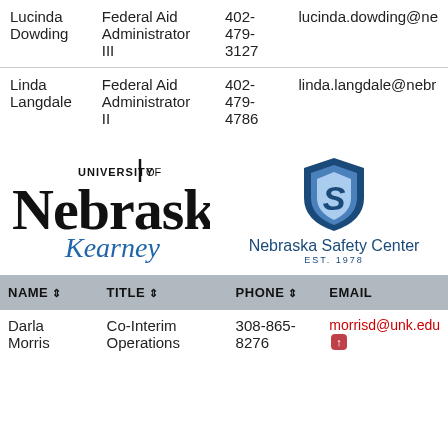| NAME | TITLE | PHONE | EMAIL |
| --- | --- | --- | --- |
| Lucinda Dowding | Federal Aid Administrator III | 402-479-3127 | lucinda.dowding@ne... |
| Linda Langdale | Federal Aid Administrator II | 402-479-4786 | linda.langdale@nebr... |
[Figure (logo): University of Nebraska Kearney logo]
[Figure (logo): Nebraska Safety Center logo, EST. 1978]
| NAME | TITLE | PHONE | EMAIL |
| --- | --- | --- | --- |
| Darla Morris | Co-Interim Operations | 308-865-8276 | morrisd@unk.edu |